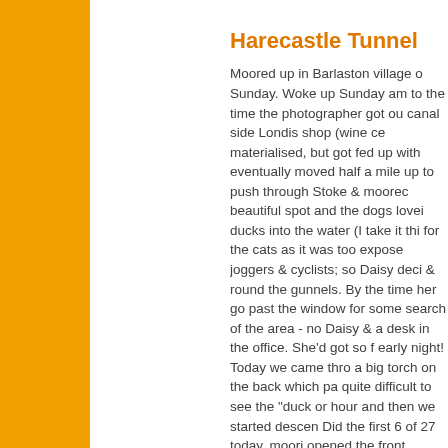Harecastle Tunnel
Moored up in Barlaston village on Sunday. Woke up Sunday am to the time the photographer got out canal side Londis shop (wine ce materialised, but got fed up with eventually moved half a mile up to push through Stoke & moored beautiful spot and the dogs loved ducks into the water (I take it this for the cats as it was too exposed joggers & cyclists; so Daisy deci & round the gunnels. By the time her go past the window for some search of the area - no Daisy & a desk in the office. She'd got so f early night! Today we came thro a big torch on the back which pa quite difficult to see the "duck or hour and then we started descen Did the first 6 of 27 today, moori opened the front paddle at one l